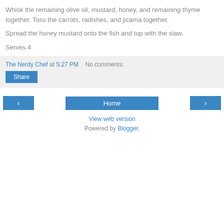Whisk the remaining olive oil, mustard, honey, and remaining thyme together. Toss the carrots, radishes, and jicama together.
Spread the honey mustard onto the fish and top with the slaw.
Serves 4
The Nerdy Chef at 5:27 PM   No comments:
Share
Home
View web version
Powered by Blogger.